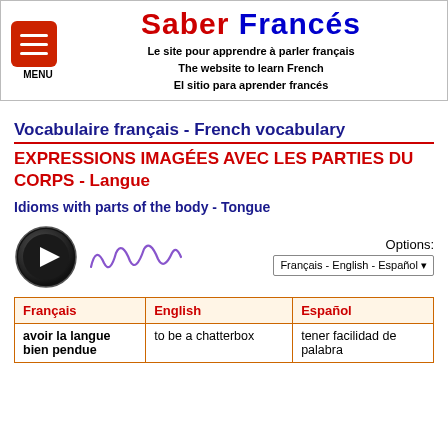Saber Francés — Le site pour apprendre à parler français / The website to learn French / El sitio para aprender francés
Vocabulaire français - French vocabulary
EXPRESSIONS IMAGÉES AVEC LES PARTIES DU CORPS - Langue
Idioms with parts of the body - Tongue
[Figure (other): Audio play button (black circle with play triangle) and purple squiggly waveform line, plus options dropdown showing Français - English - Español]
| Français | English | Español |
| --- | --- | --- |
| avoir la langue bien pendue | to be a chatterbox | tener facilidad de palabra |